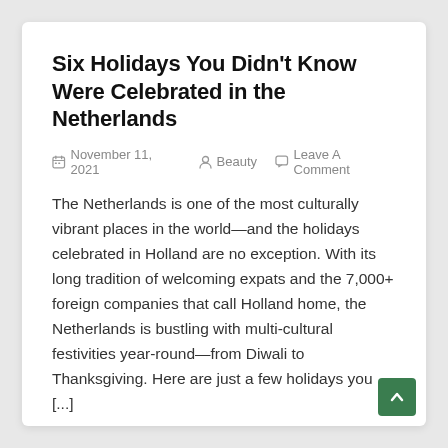Six Holidays You Didn't Know Were Celebrated in the Netherlands
November 11, 2021  Beauty  Leave A Comment
The Netherlands is one of the most culturally vibrant places in the world—and the holidays celebrated in Holland are no exception. With its long tradition of welcoming expats and the 7,000+ foreign companies that call Holland home, the Netherlands is bustling with multi-cultural festivities year-round—from Diwali to Thanksgiving. Here are just a few holidays you [...]
Continue Reading